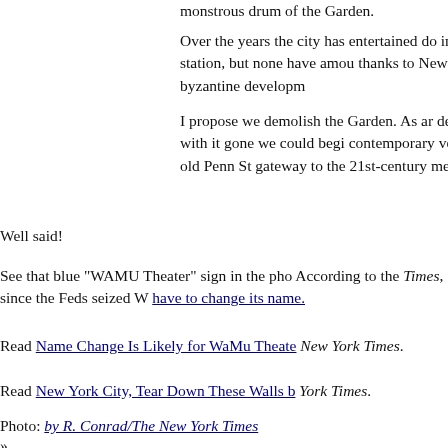monstrous drum of the Garden.
Over the years the city has entertained do... improve the station, but none have amou... thanks to New York's byzantine developm...
I propose we demolish the Garden. As ar... decrepit. And with it gone we could begi... contemporary version of the old Penn St... gateway to the 21st-century metropolis.
Well said!
See that blue "WAMU Theater" sign in the pho... According to the Times, since the Feds seized W... have to change its name.
Read Name Change Is Likely for WaMu Theate... New York Times.
Read New York City, Tear Down These Walls b... York Times.
Photo: by R. Conrad/The New York Times
»